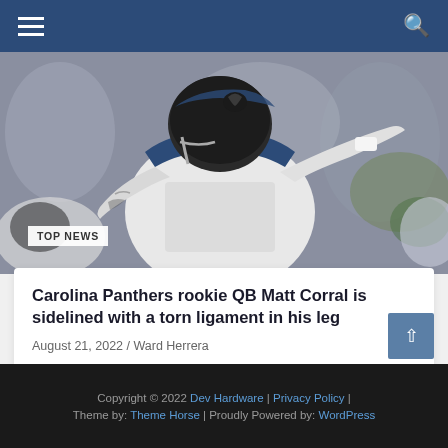[Figure (photo): Carolina Panthers quarterback Matt Corral wearing white jersey and helmet with blue panther logo, arm raised, action photo during a game]
TOP NEWS
Carolina Panthers rookie QB Matt Corral is sidelined with a torn ligament in his leg
August 21, 2022 / Ward Herrera
Copyright © 2022 Dev Hardware | Privacy Policy | Theme by: Theme Horse | Proudly Powered by: WordPress